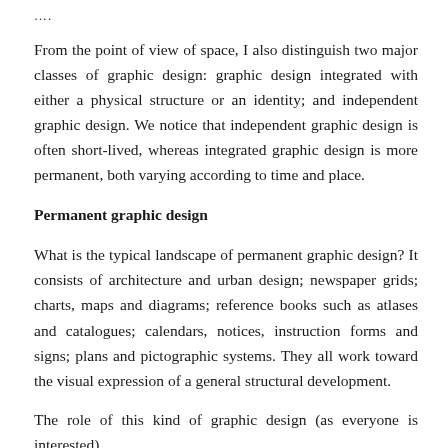....
From the point of view of space, I also distinguish two major classes of graphic design: graphic design integrated with either a physical structure or an identity; and independent graphic design. We notice that independent graphic design is often short-lived, whereas integrated graphic design is more permanent, both varying according to time and place.
Permanent graphic design
What is the typical landscape of permanent graphic design? It consists of architecture and urban design; newspaper grids; charts, maps and diagrams; reference books such as atlases and catalogues; calendars, notices, instruction forms and signs; plans and pictographic systems. They all work toward the visual expression of a general structural development.
The role of this kind of graphic design (as everyone is introduced)